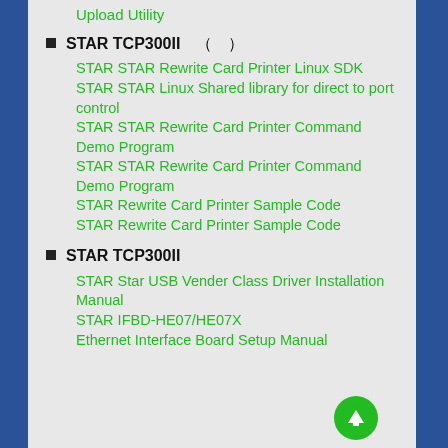Upload Utility
STAR TCP300II　（　）
STAR STAR Rewrite Card Printer Linux SDK
STAR STAR Linux Shared library for direct to port control
STAR STAR Rewrite Card Printer Command Demo Program
STAR STAR Rewrite Card Printer Command Demo Program
STAR Rewrite Card Printer Sample Code
STAR Rewrite Card Printer Sample Code
STAR TCP300II
STAR Star USB Vender Class Driver Installation Manual
STAR IFBD-HE07/HE07X Ethernet Interface Board Setup Manual